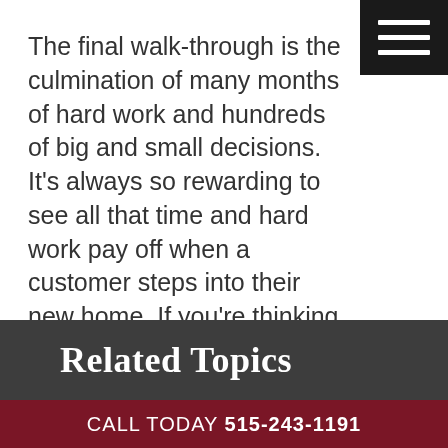The final walk-through is the culmination of many months of hard work and hundreds of big and small decisions. It's always so rewarding to see all that time and hard work pay off when a customer steps into their new home. If you're thinking about building your dream home, we would love to start this process with you. We are just a phone call or email away—if you reach out to us today, you could be doing your very own final walk-through in just a few months!
Related Topics
CALL TODAY 515-243-1191